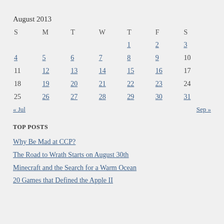| S | M | T | W | T | F | S |
| --- | --- | --- | --- | --- | --- | --- |
|  |  |  |  | 1 | 2 | 3 |
| 4 | 5 | 6 | 7 | 8 | 9 | 10 |
| 11 | 12 | 13 | 14 | 15 | 16 | 17 |
| 18 | 19 | 20 | 21 | 22 | 23 | 24 |
| 25 | 26 | 27 | 28 | 29 | 30 | 31 |
« Jul    Sep »
TOP POSTS
Why Be Mad at CCP?
The Road to Wrath Starts on August 30th
Minecraft and the Search for a Warm Ocean
20 Games that Defined the Apple II